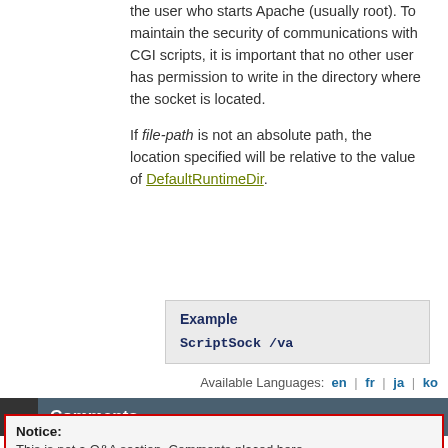the user who starts Apache (usually root). To maintain the security of communications with CGI scripts, it is important that no other user has permission to write in the directory where the socket is located.
If file-path is not an absolute path, the location specified will be relative to the value of DefaultRuntimeDir.
Example
ScriptSock /va
Available Languages: en | fr | ja | ko
Comments
Notice: This is not a Q&A section. Comments placed here